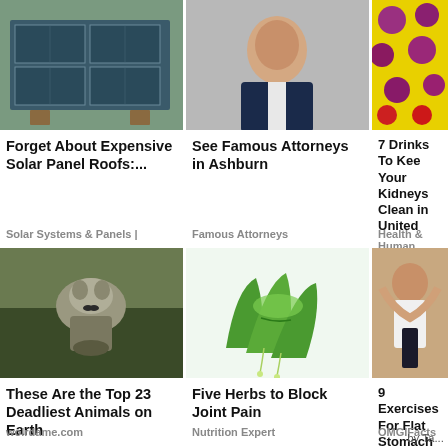[Figure (photo): Solar panels on wooden frames outdoors]
[Figure (photo): Man in dark suit, professional photo on grey background]
[Figure (photo): Purple/red berries and rose petals on yellow background]
Forget About Expensive Solar Panel Roofs:...
See Famous Attorneys in Ashburn
7 Drinks To Keep Your Kidneys Clean in United
Solar Systems & Panels |
Famous Attorneys
Health & Human Resea...
[Figure (photo): Grey wolf walking toward camera in forest]
[Figure (photo): Aloe vera leaves with gel dripping]
[Figure (photo): Woman in workout clothes doing ab exercise]
These Are the Top 23 Deadliest Animals on Earth
Five Herbs to Block Joint Pain
9 Exercises Fo... Flat Stomach
wolrdame.com
Nutrition Expert
OMGIFacts
by Ta...